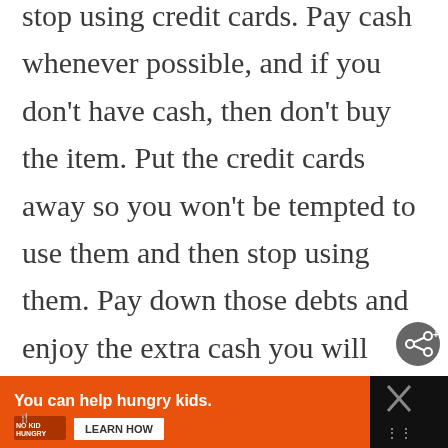stop using credit cards. Pay cash whenever possible, and if you don't have cash, then don't buy the item. Put the credit cards away so you won't be tempted to use them and then stop using them. Pay down those debts and enjoy the extra cash you will eventually have.
[Figure (other): Share button icon (circular gray button with share/network icon) in bottom-right area of content]
[Figure (other): Advertisement banner at bottom: orange background with text 'You can help hungry kids.' and No Kid Hungry logo and LEARN HOW button. Right side has black background with an X close button and other icons.]